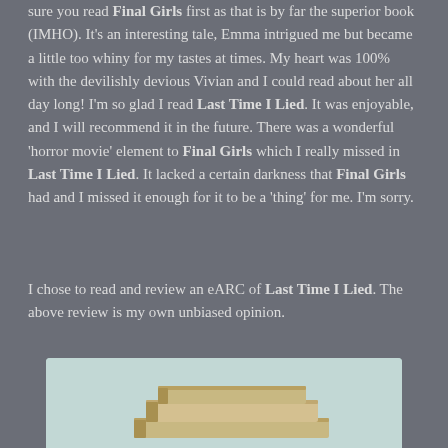sure you read Final Girls first as that is by far the superior book (IMHO). It's an interesting tale, Emma intrigued me but became a little too whiny for my tastes at times. My heart was 100% with the devilishly devious Vivian and I could read about her all day long! I'm so glad I read Last Time I Lied. It was enjoyable, and I will recommend it in the future. There was a wonderful 'horror movie' element to Final Girls which I really missed in Last Time I Lied. It lacked a certain darkness that Final Girls had and I missed it enough for it to be a 'thing' for me. I'm sorry.
I chose to read and review an eARC of Last Time I Lied. The above review is my own unbiased opinion.
[Figure (photo): A stack of books photographed against a light blue/teal background, partially visible at the bottom of the page.]